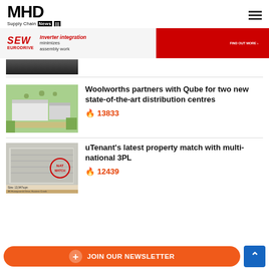MHD Supply Chain News
[Figure (advertisement): SEW EURODRIVE banner ad: Inverter integration minimizes assembly work. Red background on right with product image and FIND OUT MORE button.]
[Figure (photo): Partial aerial view of a dark building, cropped at top of visible area.]
[Figure (photo): Aerial render of Woolworths/Qube distribution centre buildings with landscaping.]
Woolworths partners with Qube for two new state-of-the-art distribution centres
🔥 13833
[Figure (photo): Satellite/aerial image of a large warehouse facility at 36 Honeycomb Drive, Eastern Creek. Includes a red circular stamp overlay.]
uTenant's latest property match with multi-national 3PL
🔥 12439